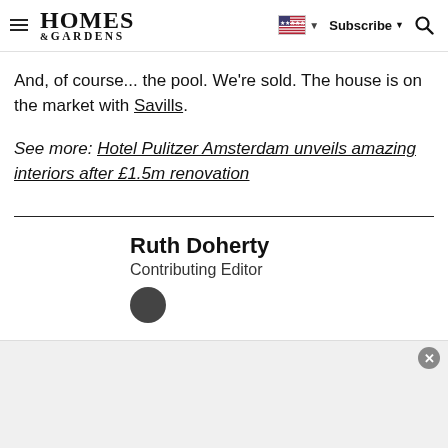Homes & Gardens — Subscribe [flag icon] [search icon]
And, of course... the pool. We're sold. The house is on the market with Savills.
See more: Hotel Pulitzer Amsterdam unveils amazing interiors after £1.5m renovation
Ruth Doherty
Contributing Editor